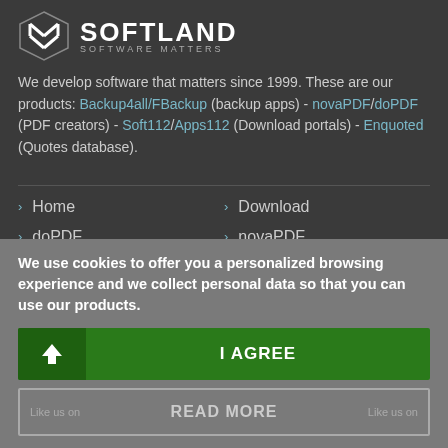[Figure (logo): Softland logo with diamond/chevron icon and text 'SOFTLAND SOFTWARE MATTERS']
We develop software that matters since 1999. These are our products: Backup4all/FBackup (backup apps) - novaPDF/doPDF (PDF creators) - Soft112/Apps112 (Download portals) - Enquoted (Quotes database).
Home
Download
doPDF
novaPDF
Languages
Forum
We use cookies to offer you a personalized browsing experience and we collect personal data so that you can use our products.
I AGREE
READ MORE